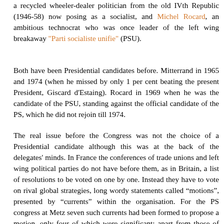a recycled wheeler-dealer politician from the old IVth Republic (1946-58) now posing as a socialist, and Michel Rocard, an ambitious technocrat who was once leader of the left wing breakaway "Parti socialiste unifie" (PSU).
Both have been Presidential candidates before. Mitterrand in 1965 and 1974 (when he missed by only 1 per cent beating the present President, Giscard d'Estaing). Rocard in 1969 when he was the candidate of the PSU, standing against the official candidate of the PS, which he did not rejoin till 1974.
The real issue before the Congress was not the choice of a Presidential candidate although this was at the back of the delegates' minds. In France the conferences of trade unions and left wing political parties do not have before them, as in Britain, a list of resolutions to be voted on one by one. Instead they have to vote on rival global strategies, long wordy statements called “motions”, presented by “currents” within the organisation. For the PS congress at Metz seven such currents had been formed to propose a motion, only four of which were significant: apart from those of Mitterrand and Rocard, that of Pierre Mauroy, mayor of Lille and boss of the PS machine in the North of France, and that...